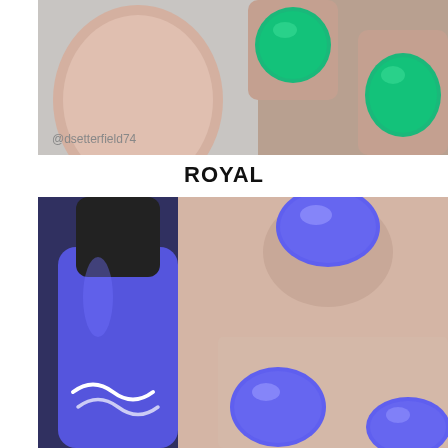[Figure (photo): Close-up photo of a hand with teal/emerald green nail polish on short nails, light skin tone, with watermark text @dsetterfield74 in the lower left corner. Light gray background.]
ROYAL
[Figure (photo): Close-up photo of a hand with royal blue/periwinkle nail polish on short nails, next to a bottle of matching blue nail polish with a white decorative logo on the label. Dark gray textured background.]